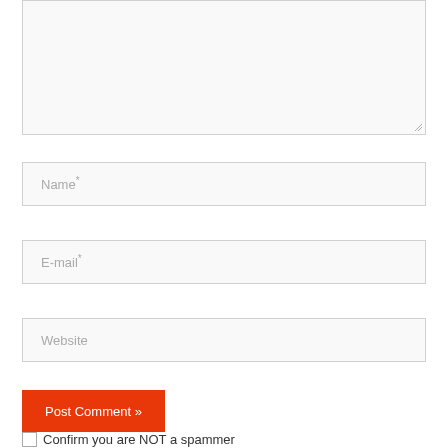[Figure (screenshot): Empty textarea input field with resize handle at bottom right, light gray background with border]
Name*
E-mail*
Website
Post Comment »
Confirm you are NOT a spammer